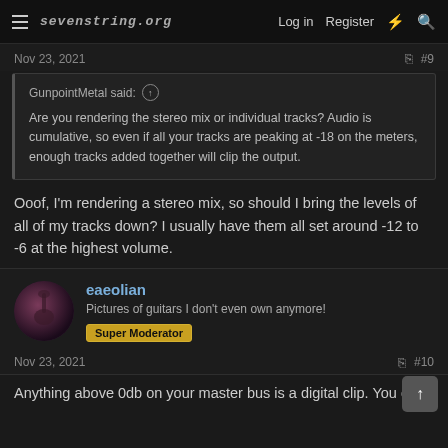sevenstring.org  Log in  Register
Nov 23, 2021  #9
GunpointMetal said: ↑  Are you rendering the stereo mix or individual tracks? Audio is cumulative, so even if all your tracks are peaking at -18 on the meters, enough tracks added together will clip the output.
Ooof, I'm rendering a stereo mix, so should I bring the levels of all of my tracks down? I usually have them all set around -12 to -6 at the highest volume.
eaeolian  Pictures of guitars I don't even own anymore!  Super Moderator
Nov 23, 2021  #10
Anything above 0db on your master bus is a digital clip. You don't